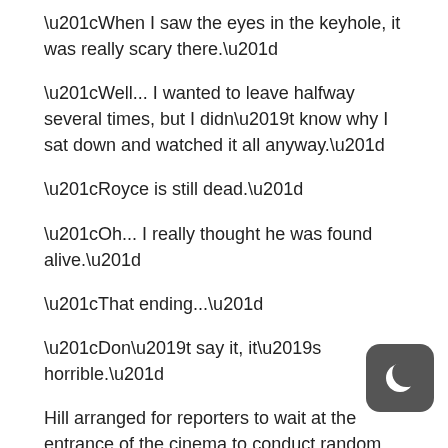“When I saw the eyes in the keyhole, it was really scary there.”
“Well... I wanted to leave halfway several times, but I didn’t know why I sat down and watched it all anyway.”
“Royce is still dead.”
“Oh... I really thought he was found alive.”
“That ending...”
“Don’t say it, it’s horrible.”
Hill arranged for reporters to wait at the entrance of the cinema to conduct random interviews with the au
A reporter here greeted a noble young master: “May I